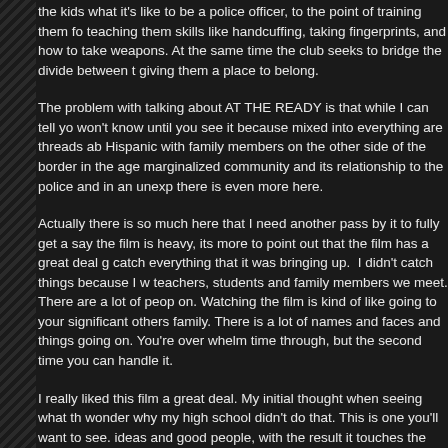the kids what it's like to be a police officer, to the point of training them fo teaching them skills like handcuffing, taking fingerprints, and how to take weapons. At the same time the club seeks to bridge the divide between t giving them a place to belong.
The problem with talking about AT THE READY is that while I can tell yo won't know until you see it because mixed into everything are threads ab Hispanic with family members on the other side of the border in the age marginalized community and its relationship to the police and in an unex there is even more here.
Actually there is so much here that I need another pass by it to fully get a say the film is heavy, its more to point out that the film has a great deal g catch everything that it was bringing up. I didn't catch things because I w teachers, students and family members we meet. There are a lot of peop on. Watching the film is kind of like going to your significant others family There is a lot of names and faces and things going on. You're over whelm time through, but the second time you can handle it.
I really liked this film a great deal. My initial thought when seeing what th wonder why my high school didn't do that. This is one you'll want to see. ideas and good people, with the result it touches the head and the heart in a second or third time.
Recommended